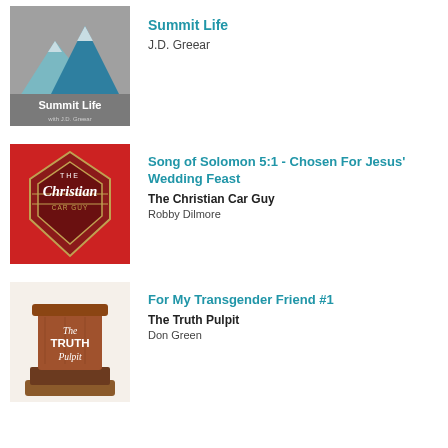[Figure (logo): Summit Life with J.D. Greear podcast logo - grey background with teal mountain peaks]
Summit Life
J.D. Greear
[Figure (logo): The Christian Car Guy podcast logo - red background with diamond shield shape and cursive text]
Song of Solomon 5:1 - Chosen For Jesus' Wedding Feast
The Christian Car Guy
Robby Dilmore
[Figure (logo): The Truth Pulpit podcast logo - wooden pulpit with white text]
For My Transgender Friend #1
The Truth Pulpit
Don Green